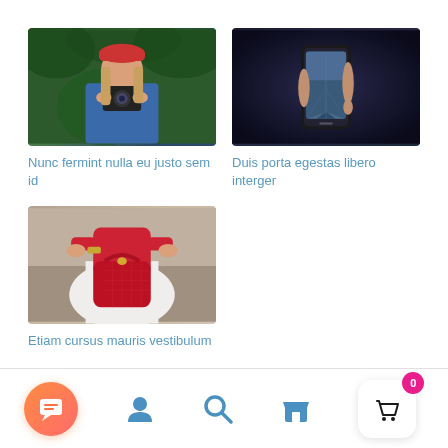[Figure (photo): Woman with red hat holding a camera outdoors with green foliage background]
[Figure (photo): Hand holding a smartphone in dark blue lighting showing a road on the screen]
Nunc fermint nulla eu justo sem id
Duis porta egestas libero interger
[Figure (photo): Woman in red top and white skirt holding a red handbag]
Etiam cursus mauris vestibulum